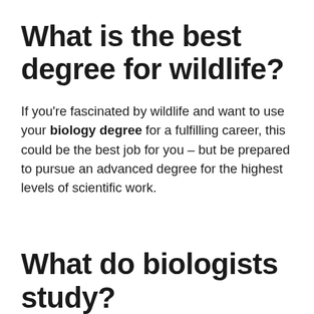What is the best degree for wildlife?
If you're fascinated by wildlife and want to use your biology degree for a fulfilling career, this could be the best job for you – but be prepared to pursue an advanced degree for the highest levels of scientific work.
What do biologists study?